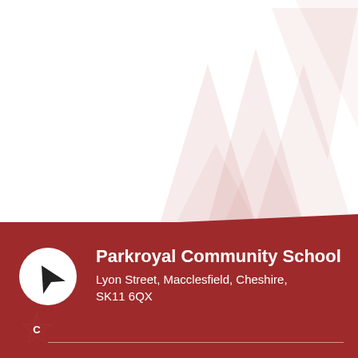[Figure (illustration): Faint watermark-style geometric crown/M-shape pattern in light pink/red on white background, upper portion of the page]
Parkroyal Community School
Lyon Street, Macclesfield, Cheshire, SK11 6QX
[Figure (logo): White circle with black navigation arrow/compass pointing upper-right, on dark red background]
[Figure (logo): Dark red star/cog badge with white letter C in center]